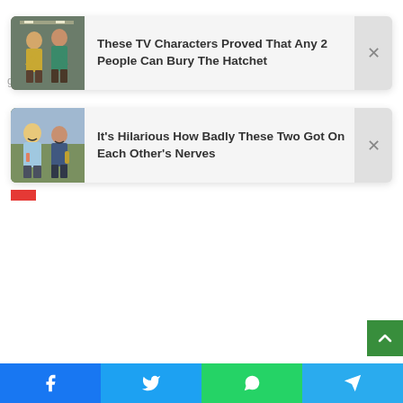[Figure (screenshot): TV show still: two women in an elevator/hallway, one in yellow top, one in teal dress]
These TV Characters Proved That Any 2 People Can Bury The Hatchet
greatest film Soundtracks, from Almost Famous to S
[Figure (photo): Two people smiling, blonde woman and man holding drinks outdoors]
It's Hilarious How Badly These Two Got On Each Other's Nerves
[Figure (infographic): Social share bar with Facebook, Twitter, WhatsApp, Telegram buttons]